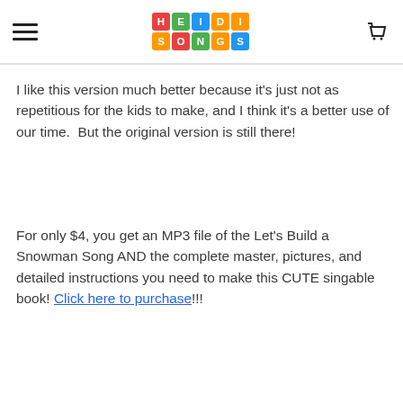Heidi Songs
I like this version much better because it's just not as repetitious for the kids to make, and I think it's a better use of our time.  But the original version is still there!
For only $4, you get an MP3 file of the Let's Build a Snowman Song AND the complete master, pictures, and detailed instructions you need to make this CUTE singable book! Click here to purchase!!!